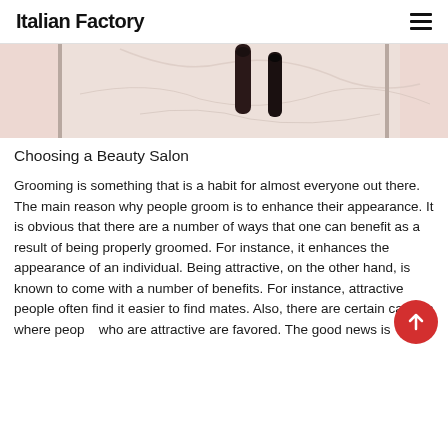Italian Factory
[Figure (photo): Top portion of a beauty/nail salon photo showing nail polish bottles on a marble surface with pink tones, partially cropped at top]
Choosing a Beauty Salon
Grooming is something that is a habit for almost everyone out there. The main reason why people groom is to enhance their appearance. It is obvious that there are a number of ways that one can benefit as a result of being properly groomed. For instance, it enhances the appearance of an individual. Being attractive, on the other hand, is known to come with a number of benefits. For instance, attractive people often find it easier to find mates. Also, there are certain careers where people who are attractive are favored. The good news is